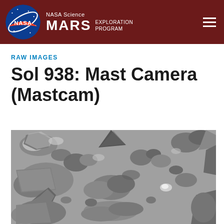NASA Science MARS EXPLORATION PROGRAM
RAW IMAGES
Sol 938: Mast Camera (Mastcam)
[Figure (photo): Black and white raw image from NASA Curiosity rover Mastcam on Sol 938 showing Mars surface with rocks and rocky terrain in grayscale]